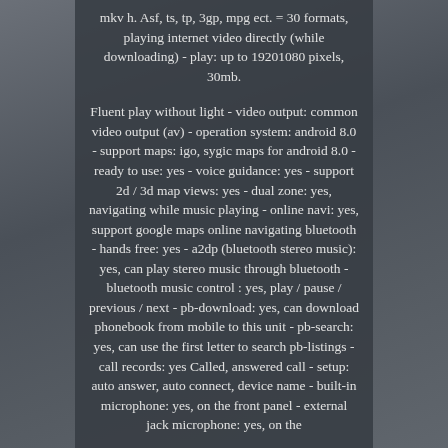mkv h. Asf, ts, tp, 3gp, mpg ect. = 30 formats, playing internet video directly (while downloading) - play: up to 19201080 pixels, 30mb.
Fluent play without light - video output: common video output (av) - operation system: android 8.0 - support maps: igo, sygic maps for android 8.0 - ready to use: yes - voice guidance: yes - support 2d / 3d map views: yes - dual zone: yes, navigating while music playing - online navi: yes, support google maps online navigating bluetooth - hands free: yes - a2dp (bluetooth stereo music): yes, can play stereo music through bluetooth - bluetooth music control : yes, play / pause / previous / next - pb-download: yes, can download phonebook from mobile to this unit - pb-search: yes, can use the first letter to search pb-listings - call records: yes Called, answered call - setup: auto answer, auto connect, device name - built-in microphone: yes, on the front panel - external jack microphone: yes, on the